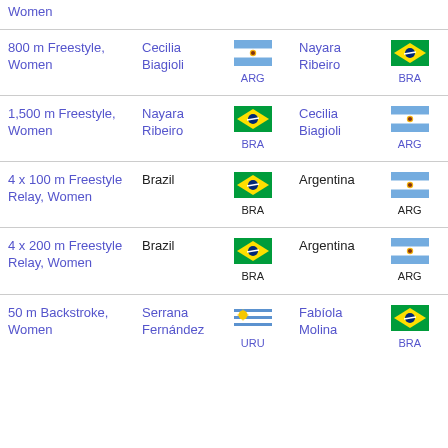| Event | Gold | Flag | Silver | Flag |
| --- | --- | --- | --- | --- |
| Women (partial) |  |  |  |  |
| 800 m Freestyle, Women | Cecilia Biagioli | ARG | Nayara Ribeiro | BRA |
| 1,500 m Freestyle, Women | Nayara Ribeiro | BRA | Cecilia Biagioli | ARG |
| 4 x 100 m Freestyle Relay, Women | Brazil | BRA | Argentina | ARG |
| 4 x 200 m Freestyle Relay, Women | Brazil | BRA | Argentina | ARG |
| 50 m Backstroke, Women | Serrana Fernández | URU | Fabíola Molina | BRA |